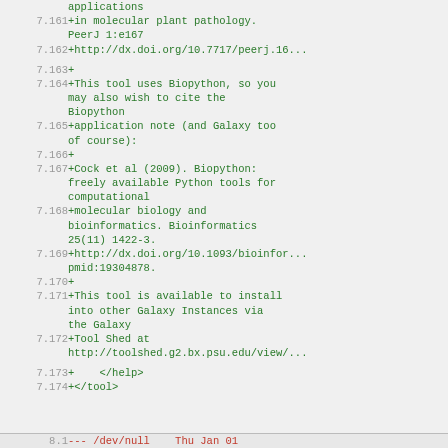diff view showing added lines in a code/text file (scientific bioinformatics tool help text). Lines 7.161-7.174 shown with green added content, bottom bar shows 8.1 removed line.
| line | content |
| --- | --- |
|  | applications |
| 7.161 | +in molecular plant pathology. PeerJ 1:e167 |
| 7.162 | +http://dx.doi.org/10.7717/peerj.16... |
| 7.163 | + |
| 7.164 | +This tool uses Biopython, so you may also wish to cite the Biopython |
| 7.165 | +application note (and Galaxy too of course): |
| 7.166 | + |
| 7.167 | +Cock et al (2009). Biopython: freely available Python tools for computational |
| 7.168 | +molecular biology and bioinformatics. Bioinformatics 25(11) 1422-3. |
| 7.169 | +http://dx.doi.org/10.1093/bioinfor... pmid:19304878. |
| 7.170 | + |
| 7.171 | +This tool is available to install into other Galaxy Instances via the Galaxy |
| 7.172 | +Tool Shed at http://toolshed.g2.bx.psu.edu/view/... |
| 7.173 | +    </help> |
| 7.174 | +</tool> |
| 8.1 | --- /dev/null    Thu Jan 01 |